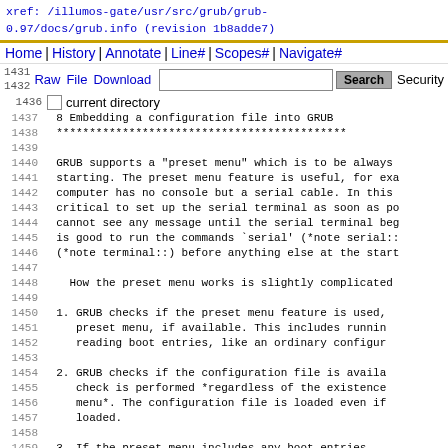xref: /illumos-gate/usr/src/grub/grub-0.97/docs/grub.info (revision 1b8adde7)
Home | History | Annotate | Line# | Scopes# | Navigate#
Raw | Download  [search box] Search  Security
current directory
1437   8 Embedding a configuration file into GRUB
1438   ********************************************
1439
1440   GRUB supports a "preset menu" which is to be always
1441   starting. The preset menu feature is useful, for exa
1442   computer has no console but a serial cable. In this
1443   critical to set up the serial terminal as soon as po
1444   cannot see any message until the serial terminal beg
1445   is good to run the commands `serial' (*note serial::
1446   (*note terminal::) before anything else at the start
1447
1448      How the preset menu works is slightly complicated
1449
1450   1. GRUB checks if the preset menu feature is used,
1451      preset menu, if available. This includes runnin
1452      reading boot entries, like an ordinary configur
1453
1454   2. GRUB checks if the configuration file is availa
1455      check is performed *regardless of the existence
1456      menu*. The configuration file is loaded even if
1457      loaded.
1458
1459   3. If the preset menu includes any boot entries,